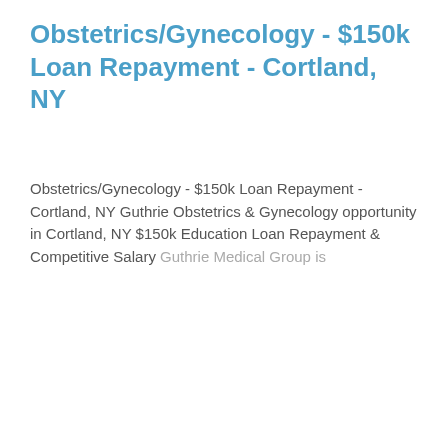Obstetrics/Gynecology - $150k Loan Repayment - Cortland, NY
Obstetrics/Gynecology - $150k Loan Repayment - Cortland, NY Guthrie Obstetrics & Gynecology opportunity in Cortland, NY $150k Education Loan Repayment & Competitive Salary Guthrie Medical Group is
This job listing is no longer active.
Cookie Settings   Got it
We use cookies so that we can remember you and understand how you use our site. If you do not agree with our use of cookies, please change the current settings found in our Cookie Policy. Otherwise, you agree to the use of the cookies as they are currently set.